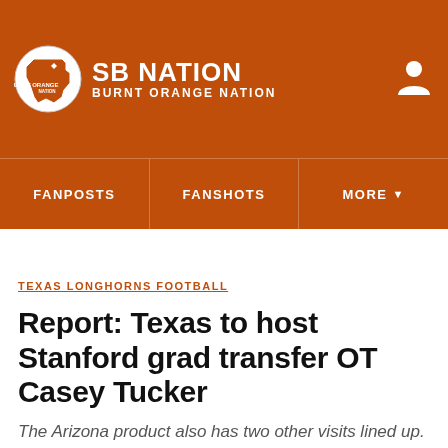SB NATION / BURNT ORANGE NATION
FANPOSTS | FANSHOTS | MORE
TEXAS LONGHORNS FOOTBALL
Report: Texas to host Stanford grad transfer OT Casey Tucker
The Arizona product also has two other visits lined up.
By Wescott Eberts | @SBN_Wescott | Jan 9, 2018, 5:00pm CST